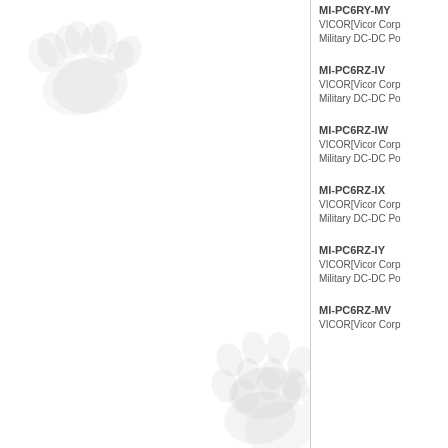MI-PC6RY-MY
VICOR[Vicor Corp]
Military DC-DC Po...
MI-PC6RZ-IV
VICOR[Vicor Corp]
Military DC-DC Po...
MI-PC6RZ-IW
VICOR[Vicor Corp]
Military DC-DC Po...
MI-PC6RZ-IX
VICOR[Vicor Corp]
Military DC-DC Po...
MI-PC6RZ-IY
VICOR[Vicor Corp]
Military DC-DC Po...
MI-PC6RZ-MV
VICOR[Vicor Corp]...